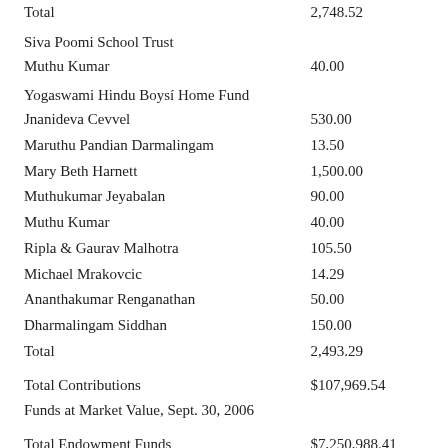| Name | Amount |
| --- | --- |
| Total | 2,748.52 |
| Siva Poomi School Trust |  |
| Muthu Kumar | 40.00 |
| Yogaswami Hindu Boysí Home Fund |  |
| Jnanideva Cevvel | 530.00 |
| Maruthu Pandian Darmalingam | 13.50 |
| Mary Beth Harnett | 1,500.00 |
| Muthukumar Jeyabalan | 90.00 |
| Muthu Kumar | 40.00 |
| Ripla & Gaurav Malhotra | 105.50 |
| Michael Mrakovcic | 14.29 |
| Ananthakumar Renganathan | 50.00 |
| Dharmalingam Siddhan | 150.00 |
| Total | 2,493.29 |
| Total Contributions | $107,969.54 |
| Funds at Market Value, Sept. 30, 2006 |  |
| Total Endowment Funds | $7,250,988.41 |
| Total Pooled Income Funds | $211,456.23 |
| Grand Total | $7,462,444.64 |